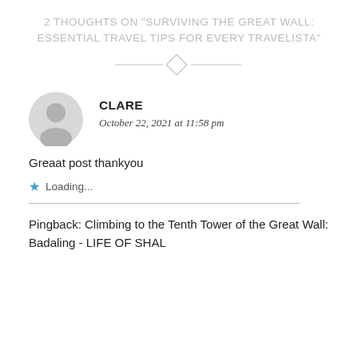2 THOUGHTS ON “SURVIVING THE GREAT WALL: ESSENTIAL TRAVEL TIPS FOR EVERY TRAVELISTA”
[Figure (illustration): Decorative divider with diamond shape and horizontal lines]
[Figure (illustration): Grey circular avatar/user icon]
CLARE
October 22, 2021 at 11:58 pm
Greaat post thankyou
Loading...
Pingback: Climbing to the Tenth Tower of the Great Wall: Badaling - LIFE OF SHAL